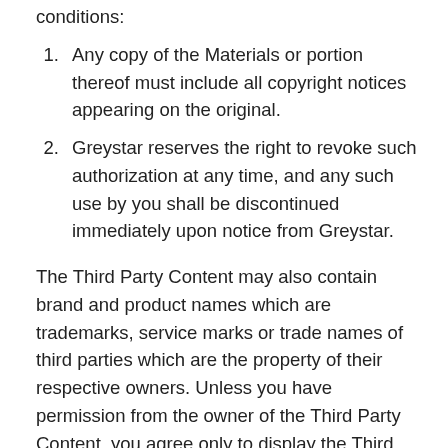conditions:
Any copy of the Materials or portion thereof must include all copyright notices appearing on the original.
Greystar reserves the right to revoke such authorization at any time, and any such use by you shall be discontinued immediately upon notice from Greystar.
The Third Party Content may also contain brand and product names which are trademarks, service marks or trade names of third parties which are the property of their respective owners. Unless you have permission from the owner of the Third Party Content, you agree only to display the Third Party Content on your personal computer solely for your personal or internal